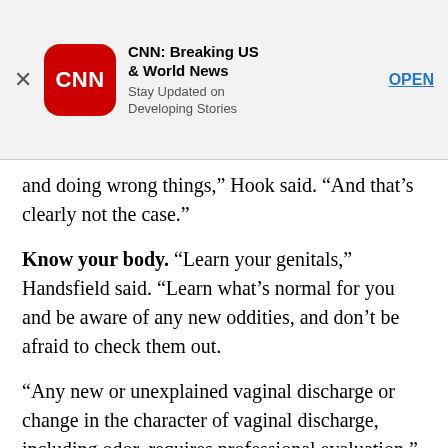[Figure (screenshot): CNN app advertisement banner with close button (X), CNN red rounded square logo, app name 'CNN: Breaking US & World News', subtitle 'Stay Updated on Developing Stories', and OPEN link]
and doing wrong things,” Hook said. “And that’s clearly not the case.”
“Know your body.” “Learn your genitals,” Handsfield said. “Learn what’s normal for you and be aware of any new oddities, and don’t be afraid to check them out.
“Any new or unexplained vaginal discharge or change in the character of vaginal discharge, including odor, requires professional evaluation,” Handsfield said, adding that any unexplained genital sore, lump or swollen gland in the groin, low abdominal or pelvic pain, or change in menstrual pattern are all reasons to visit a doctor.